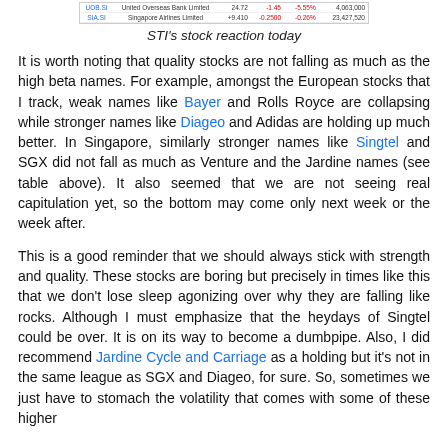[Figure (screenshot): Partial screenshot of STI stock table showing two rows: United Overseas Bank Limited (UOB) and Singapore Airlines Limited, with columns for price, change, and volume values.]
STI's stock reaction today
It is worth noting that quality stocks are not falling as much as the high beta names. For example, amongst the European stocks that I track, weak names like Bayer and Rolls Royce are collapsing while stronger names like Diageo and Adidas are holding up much better. In Singapore, similarly stronger names like Singtel and SGX did not fall as much as Venture and the Jardine names (see table above). It also seemed that we are not seeing real capitulation yet, so the bottom may come only next week or the week after.
This is a good reminder that we should always stick with strength and quality. These stocks are boring but precisely in times like this that we don't lose sleep agonizing over why they are falling like rocks. Although I must emphasize that the heydays of Singtel could be over. It is on its way to become a dumbpipe. Also, I did recommend Jardine Cycle and Carriage as a holding but it's not in the same league as SGX and Diageo, for sure. So, sometimes we just have to stomach the volatility that comes with some of these higher...